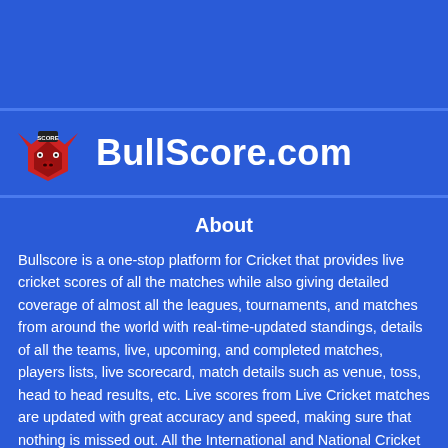[Figure (logo): BullScore.com logo — red bull head silhouette with a small scoreboard sign, on a blue background]
BullScore.com
About
Bullscore is a one-stop platform for Cricket that provides live cricket scores of all the matches while also giving detailed coverage of almost all the leagues, tournaments, and matches from around the world with real-time-updated standings, details of all the teams, live, upcoming, and completed matches, players lists, live scorecard, match details such as venue, toss, head to head results, etc. Live scores from Live Cricket matches are updated with great accuracy and speed, making sure that nothing is missed out. All the International and National Cricket tournaments such as the World cup, Champions Trophy, Indian premier league, Big Bash League, Under-19 tournaments, etc are provided with detailed live scores, standings, live and